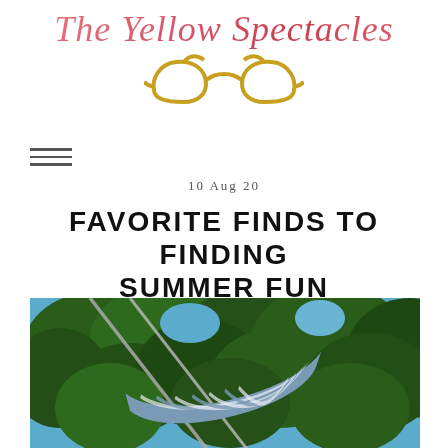[Figure (logo): The Yellow Spectacles blog logo — cursive pink-red text with gold cat-eye glasses icon below]
10 Aug 20
FAVORITE FINDS TO FINDING SUMMER FUN
[Figure (photo): Outdoor photo showing a striped hammock hanging among green leafy trees with blue sky visible]